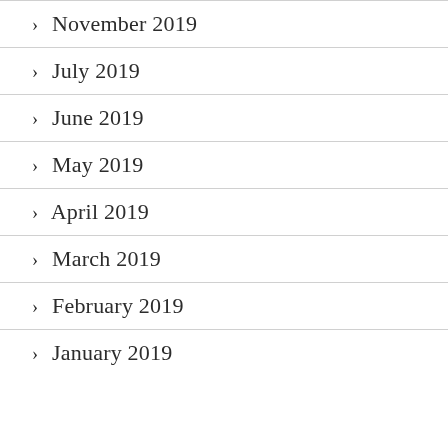> November 2019
> July 2019
> June 2019
> May 2019
> April 2019
> March 2019
> February 2019
> January 2019